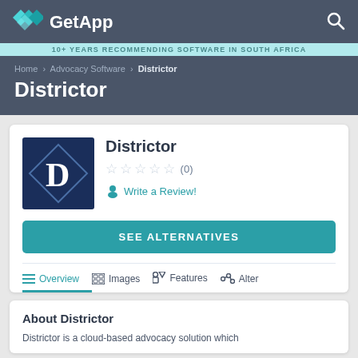GetApp
10+ YEARS RECOMMENDING SOFTWARE IN SOUTH AFRICA
Home › Advocacy Software › Distriactor
Distriactor
Distriactor ☆☆☆☆☆ (0) Write a Review!
SEE ALTERNATIVES
Overview  Images  Features  Alter...
About Distriactor
Distriactor is a cloud-based advocacy solution which